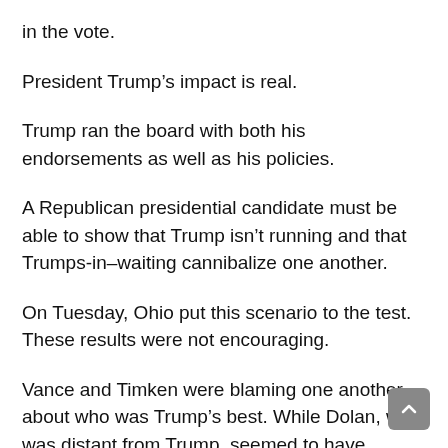in the vote.
President Trump’s impact is real.
Trump ran the board with both his endorsements as well as his policies.
A Republican presidential candidate must be able to show that Trump isn’t running and that Trumps-in–waiting cannibalize one another.
On Tuesday, Ohio put this scenario to the test. These results were not encouraging.
Vance and Timken were blaming one another about who was Trump’s best. While Dolan, who was distant from Trump, seemed to have enough